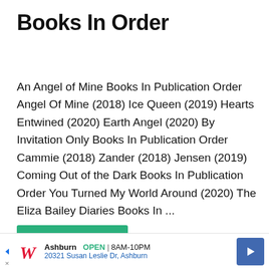Books In Order
An Angel of Mine Books In Publication Order Angel Of Mine (2018) Ice Queen (2019) Hearts Entwined (2020) Earth Angel (2020) By Invitation Only Books In Publication Order Cammie (2018) Zander (2018) Jensen (2019) Coming Out of the Dark Books In Publication Order You Turned My World Around (2020) The Eliza Bailey Diaries Books In ...
Read more
[Figure (infographic): Advertisement bar: Walgreens logo, Ashburn location, OPEN 8AM-10PM, 20321 Susan Leslie Dr Ashburn, navigation arrow button]